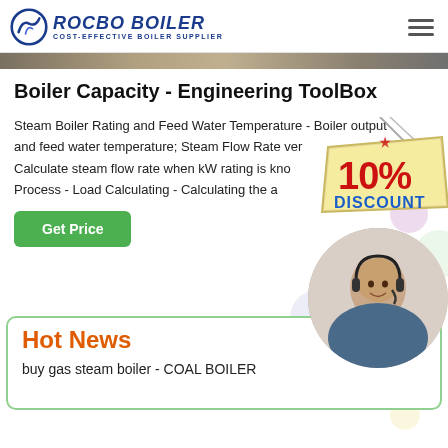[Figure (logo): Rocbo Boiler logo with circular icon and text 'ROCBO BOILER - COST-EFFECTIVE BOILER SUPPLIER']
[Figure (photo): Partial hero banner image at the top of the page]
Boiler Capacity - Engineering ToolBox
Steam Boiler Rating and Feed Water Temperature - Boiler output and feed water temperature; Steam Flow Rate versus kW Rating - Calculate steam flow rate when kW rating is kno... Process - Load Calculating - Calculating the a...
[Figure (illustration): 10% DISCOUNT badge/sticker graphic]
[Figure (photo): Photo of a woman with headset (customer service agent) in circular crop]
Hot News
buy gas steam boiler - COAL BOILER